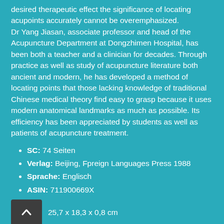desired therapeutic effect the significance of locating acupoints accurately cannot be overemphasized. Dr Yang Jiasan, associate professor and head of the Acupuncture Department at Dongzhimen Hospital, has been both a teacher and a clinician for decades. Through practice as well as study of acupuncture literature both ancient and modern, he has developed a method of locating points that those lacking knowledge of traditional Chinese medical theory find easy to grasp because it uses modern anatomical landmarks as much as possible. Its efficiency has been appreciated by students as well as patients of acupuncture treatment.
SC: 74 Seiten
Verlag: Beijing, Fpreign Languages Press 1988
Sprache: Englisch
ASIN: 711900669X
25,7 x 18,3 x 0,8 cm
CHF 7.50